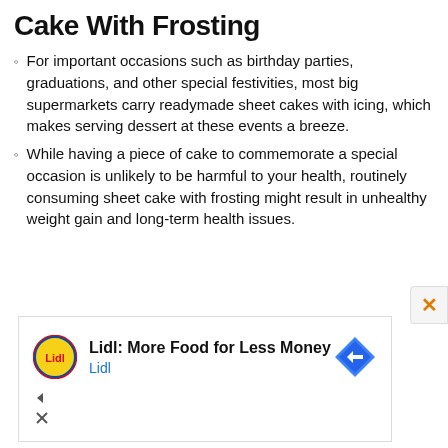Cake With Frosting
For important occasions such as birthday parties, graduations, and other special festivities, most big supermarkets carry readymade sheet cakes with icing, which makes serving dessert at these events a breeze.
While having a piece of cake to commemorate a special occasion is unlikely to be harmful to your health, routinely consuming sheet cake with frosting might result in unhealthy weight gain and long-term health issues.
[Figure (screenshot): Advertisement banner for Lidl: 'Lidl: More Food for Less Money' with Lidl logo and navigation icon]